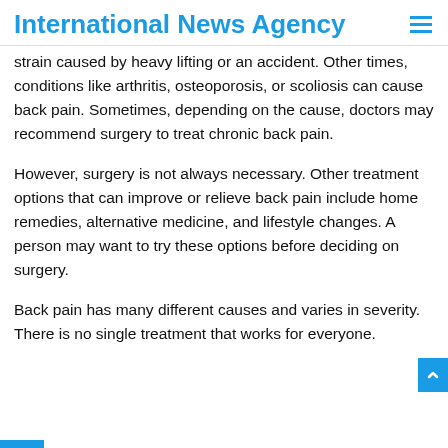International News Agency
strain caused by heavy lifting or an accident. Other times, conditions like arthritis, osteoporosis, or scoliosis can cause back pain. Sometimes, depending on the cause, doctors may recommend surgery to treat chronic back pain.
However, surgery is not always necessary. Other treatment options that can improve or relieve back pain include home remedies, alternative medicine, and lifestyle changes. A person may want to try these options before deciding on surgery.
Back pain has many different causes and varies in severity. There is no single treatment that works for everyone.